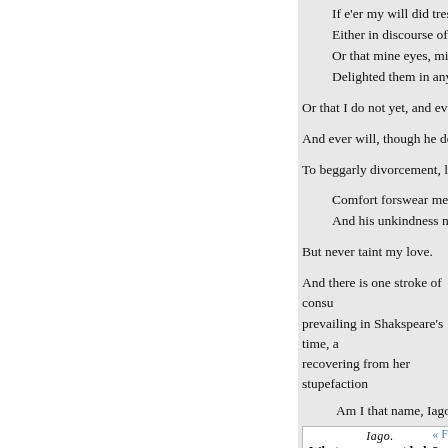If e'er my will did trespass '...
Either in discourse of thou...
Or that mine eyes, mine ear...
Delighted them in any othe...
Or that I do not yet, and ever did...
And ever will, though he do shak...
To beggarly divorcement, love h...
Comfort forswear me! Unki...
And his unkindness may de...
But never taint my love.
And there is one stroke of consu... prevailing in Shakspeare's time, a... recovering from her stupefaction...
Am I that name, Iago?
Iago.
What name, sweet lady?
That,
« F...